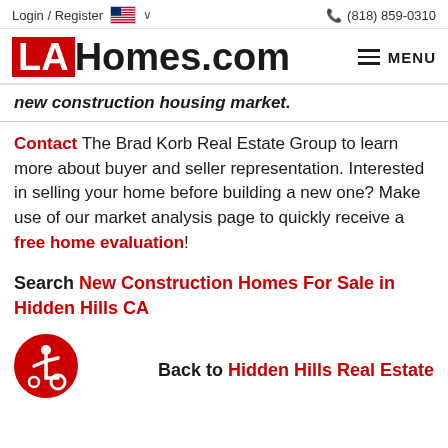Login / Register  (818) 859-0310
LAHomes.com  MENU
new construction housing market.
Contact The Brad Korb Real Estate Group to learn more about buyer and seller representation. Interested in selling your home before building a new one? Make use of our market analysis page to quickly receive a free home evaluation!
Search New Construction Homes For Sale in Hidden Hills CA
Back to Hidden Hills Real Estate